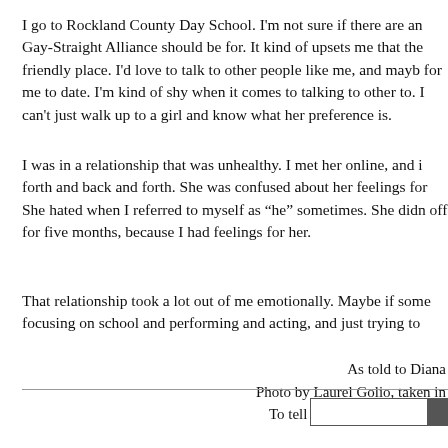I go to Rockland County Day School. I'm not sure if there are an Gay-Straight Alliance should be for. It kind of upsets me that the friendly place. I'd love to talk to other people like me, and mayb for me to date. I'm kind of shy when it comes to talking to other to. I can't just walk up to a girl and know what her preference is.
I was in a relationship that was unhealthy. I met her online, and i forth and back and forth. She was confused about her feelings fo She hated when I referred to myself as "he" sometimes. She didn off for five months, because I had feelings for her.
That relationship took a lot out of me emotionally. Maybe if som focusing on school and performing and acting, and just trying to
As told to Diana
Photo by Laurel Golio, taken in
To tell your story, email hello